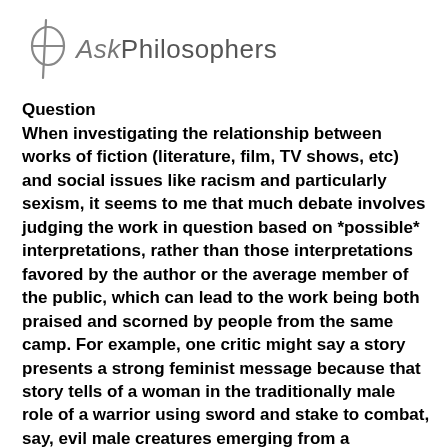[Figure (logo): AskPhilosophers logo: phi symbol on left with italic 'Ask' and regular 'Philosophers' text]
Question
When investigating the relationship between works of fiction (literature, film, TV shows, etc) and social issues like racism and particularly sexism, it seems to me that much debate involves judging the work in question based on *possible* interpretations, rather than those interpretations favored by the author or the average member of the public, which can lead to the work being both praised and scorned by people from the same camp. For example, one critic might say a story presents a strong feminist message because that story tells of a woman in the traditionally male role of a warrior using sword and stake to combat, say, evil male creatures emerging from a